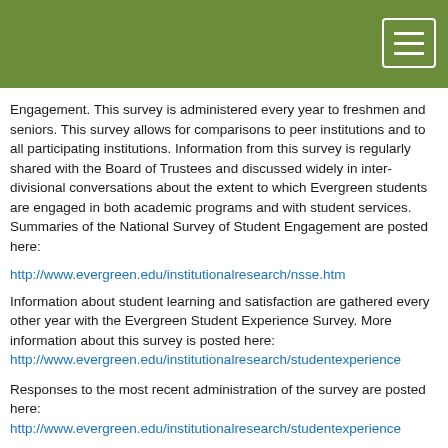Engagement. This survey is administered every year to freshmen and seniors. This survey allows for comparisons to peer institutions and to all participating institutions. Information from this survey is regularly shared with the Board of Trustees and discussed widely in inter-divisional conversations about the extent to which Evergreen students are engaged in both academic programs and with student services. Summaries of the National Survey of Student Engagement are posted here:
http://www.evergreen.edu/institutionalresearch/nsse.htm
Information about student learning and satisfaction are gathered every other year with the Evergreen Student Experience Survey. More information about this survey is posted here:
http://www.evergreen.edu/institutionalresearch/studentexperience
Responses to the most recent administration of the survey are posted here:
http://www.evergreen.edu/institutionalresearch/studentexperience
These responses are provided specific to student...